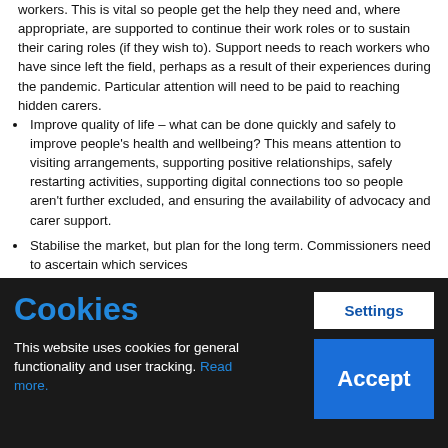workers. This is vital so people get the help they need and, where appropriate, are supported to continue their work roles or to sustain their caring roles (if they wish to). Support needs to reach workers who have since left the field, perhaps as a result of their experiences during the pandemic. Particular attention will need to be paid to reaching hidden carers.
Improve quality of life – what can be done quickly and safely to improve people's health and wellbeing? This means attention to visiting arrangements, supporting positive relationships, safely restarting activities, supporting digital connections too so people aren't further excluded, and ensuring the availability of advocacy and carer support.
Stabilise the market, but plan for the long term. Commissioners need to ascertain which services
Cookies
This website uses cookies for general functionality and user tracking. Read more.